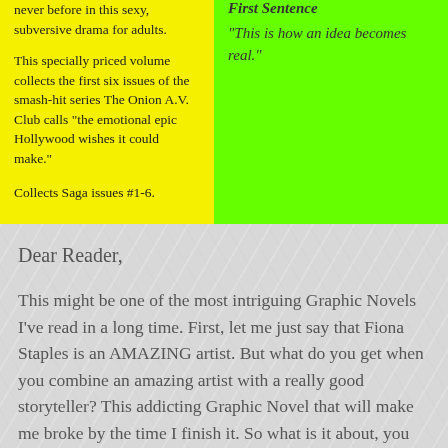never before in this sexy, subversive drama for adults.

This specially priced volume collects the first six issues of the smash-hit series The Onion A.V. Club calls "the emotional epic Hollywood wishes it could make."

Collects Saga issues #1-6.
First Sentence
"This is how an idea becomes real."
Dear Reader,
This might be one of the most intriguing Graphic Novels I've read in a long time. First, let me just say that Fiona Staples is an AMAZING artist. But what do you get when you combine an amazing artist with a really good storyteller? This addicting Graphic Novel that will make me broke by the time I finish it. So what is it about, you